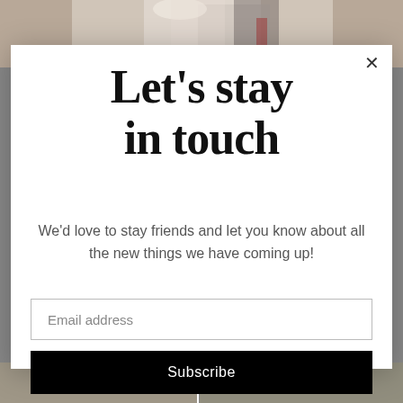[Figure (photo): Top portion of a wedding couple photo, partially visible at top of page]
Let's stay in touch
We'd love to stay friends and let you know about all the new things we have coming up!
Email address
Subscribe
[Figure (photo): Bottom strip showing two partial photos, likely outdoor/garden scenes]